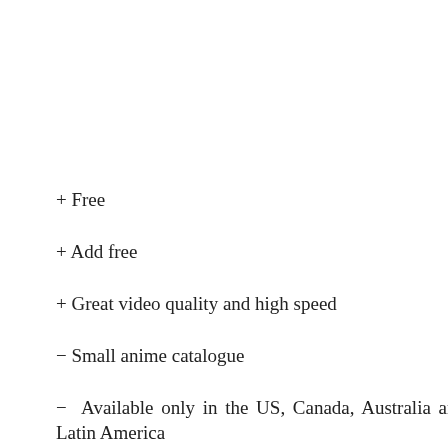+ Free
+ Add free
+ Great video quality and high speed
− Small anime catalogue
− Available only in the US, Canada, Australia and Latin America